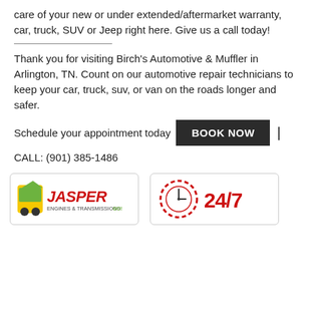care of your new or under extended/aftermarket warranty, car, truck, SUV or Jeep right here. Give us a call today!
Thank you for visiting Birch's Automotive & Muffler in Arlington, TN. Count on our automotive repair technicians to keep your car, truck, suv, or van on the roads longer and safer.
Schedule your appointment today BOOK NOW | CALL: (901) 385-1486
[Figure (logo): Jasper Engines & Transmissions logo]
[Figure (logo): 24/7 service logo with clock chain graphic]